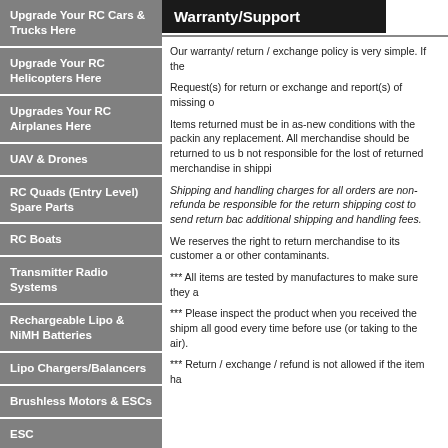Upgrade Your RC Cars & Trucks Here
Upgrade Your RC Helicopters Here
Upgrades Your RC Airplanes Here
UAV & Drones
RC Quads (Entry Level) Spare Parts
RC Boats
Transmitter Radio Systems
Rechargeable Lipo & NiMH Batteries
Lipo Chargers/Balancers
Brushless Motors & ESCs
ESC
Servos
Gyros
Warranty/Support
Our warranty/ return / exchange policy is very simple. If the
Request(s) for return or exchange and report(s) of missing o
Items returned must be in as-new conditions with the packin any replacement. All merchandise should be returned to us b not responsible for the lost of returned merchandise in shippi
Shipping and handling charges for all orders are non-refunda be responsible for the return shipping cost to send return bac additional shipping and handling fees.
We reserves the right to return merchandise to its customer a or other contaminants.
*** All items are tested by manufactures to make sure they a
*** Please inspect the product when you received the shipm all good every time before use (or taking to the air).
*** Return / exchange / refund is not allowed if the item ha